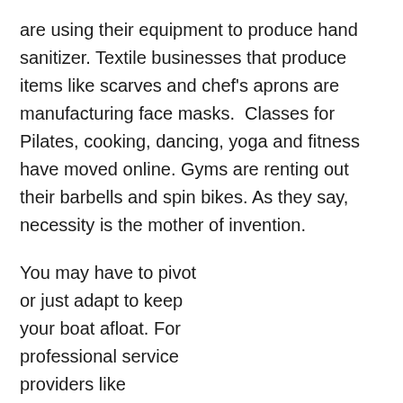are using their equipment to produce hand sanitizer. Textile businesses that produce items like scarves and chef's aprons are manufacturing face masks.  Classes for Pilates, cooking, dancing, yoga and fitness have moved online. Gyms are renting out their barbells and spin bikes. As they say, necessity is the mother of invention.
You may have to pivot or just adapt to keep your boat afloat. For professional service providers like accountants, solicitors and architects the COVID-19 pandemic has forced them to change their